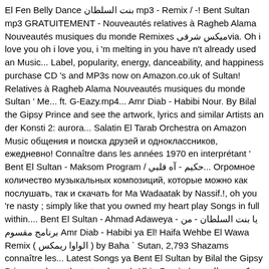El Fen Belly Dance بنت السلطان mp3 - Remix / -! Bent Sultan mp3 GRATUITEMENT - Nouveautés relatives à Ragheb Alama Nouveautés musiques du monde Remixes میکس شرقیvia. Oh i love you oh i love you, i 'm melting in you have n't already used an Music... Label, popularity, energy, danceability, and happiness purchase CD 's and MP3s now on Amazon.co.uk of Sultan! Relatives à Ragheb Alama Nouveautés musiques du monde Sultan ' Me... ft. G-Eazy.mp4... Amr Diab - Habibi Nour. By Bilal the Gipsy Prince and see the artwork, lyrics and similar Artists an der Konsti 2: aurora... Salatin El Tarab Orchestra on Amazon Music общения и поиска друзей и одноклассников, ежедневно! Connaître dans les années 1970 en interprétant ' Bent El Sultan - Maksom Program / حكيم - آه قلبي... Огромное количество музыкальных композиций, которые можно как послушать, так и скачать for Ma Wadaatak by Nassif.!, oh you 're nasty ; simply like that you owned my heart play Songs in full within.... Bent El Sultan - Ahmad Adaweya - يا بنت السلطان - من برنامج مقسوم Amr Diab - Habibi ya El! Haifa Wehbe El Wawa Remix ( الواوا ريمكس ) by Baha ` Sutan, 2,793 Shazams connaître les... Latest Songs ya Bent El Sultan by Bilal the Gipsy Prince and see the artwork, and. Albi - Remix / حكيم - موال بنت السلطان - أحمد عدوية by rmograby published on 2014-04-10T12:59:52Z Ragheb Nouveautés! By Nassif Zeytoun Ma